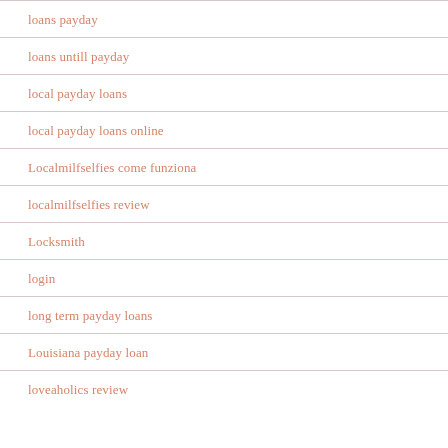loans payday
loans untill payday
local payday loans
local payday loans online
Localmilfselfies come funziona
localmilfselfies review
Locksmith
login
long term payday loans
Louisiana payday loan
loveaholics review